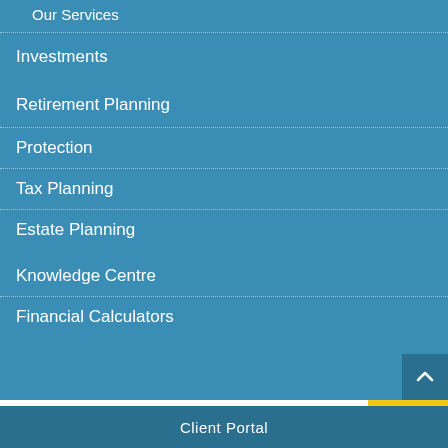Our Services
Investments
Retirement Planning
Protection
Tax Planning
Estate Planning
Knowledge Centre
Financial Calculators
Client Portal